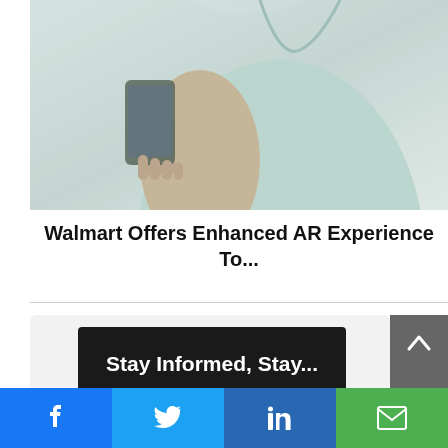[Figure (photo): Person in a mint green top holding a smartphone, photographed from the torso down against a light gray background.]
Walmart Offers Enhanced AR Experience To...
[Figure (screenshot): Newsletter sign-up box with dark banner showing text 'Stay Informed, Stay...' and a scroll-up arrow button]
[Figure (infographic): Social sharing bar with Facebook, Twitter, LinkedIn, and email buttons]